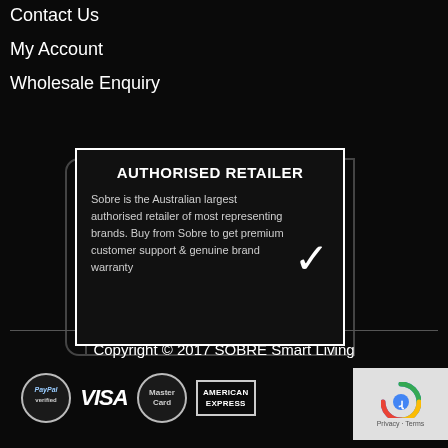Contact Us
My Account
Wholesale Enquiry
[Figure (infographic): Authorised Retailer badge with text: AUTHORISED RETAILER. Sobre is the Australian largest authorised retailer of most representing brands. Buy from Sobre to get premium customer support & genuine brand warranty. Includes a white checkmark.]
Copyright © 2017 SOBRE Smart Living
[Figure (infographic): Payment method icons: PayPal verified, VISA, MasterCard, AMERICAN EXPRESS, and reCAPTCHA badge]